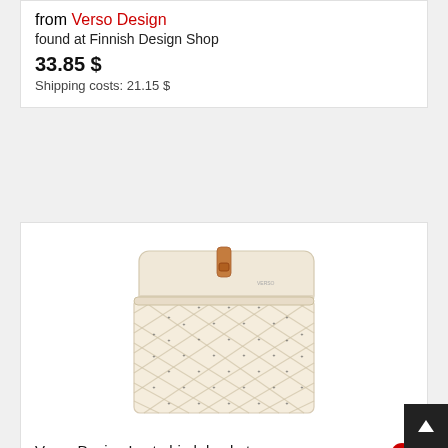from Verso Design
found at Finnish Design Shop
33.85 $
Shipping costs: 21.15 $
[Figure (photo): Verso Design Lastu birch basket with woven diamond pattern body, flat lid, and leather strap closure, in light cream/natural color]
Verso Design Lastu birch basket ... from Verso Design